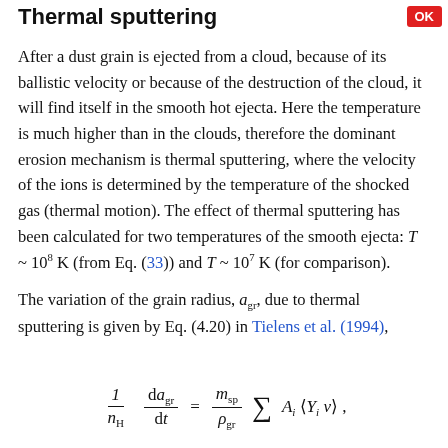Thermal sputtering
After a dust grain is ejected from a cloud, because of its ballistic velocity or because of the destruction of the cloud, it will find itself in the smooth hot ejecta. Here the temperature is much higher than in the clouds, therefore the dominant erosion mechanism is thermal sputtering, where the velocity of the ions is determined by the temperature of the shocked gas (thermal motion). The effect of thermal sputtering has been calculated for two temperatures of the smooth ejecta: T ~ 10^8 K (from Eq. (33)) and T ~ 10^7 K (for comparison).
The variation of the grain radius, a_gr, due to thermal sputtering is given by Eq. (4.20) in Tielens et al. (1994),